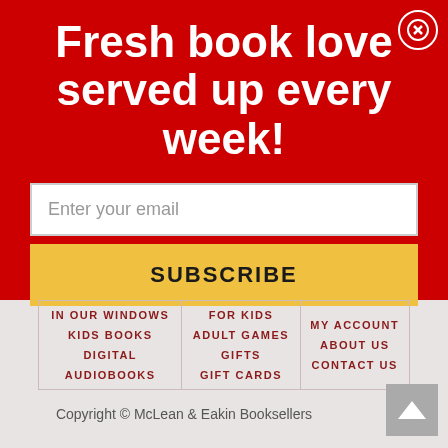Fresh book love served up every week!
Enter your email
SUBSCRIBE
| IN OUR WINDOWS
KIDS BOOKS
DIGITAL
AUDIOBOOKS | FOR KIDS
ADULT GAMES
GIFTS
GIFT CARDS | MY ACCOUNT
ABOUT US
CONTACT US |
Copyright © McLean & Eakin Booksellers